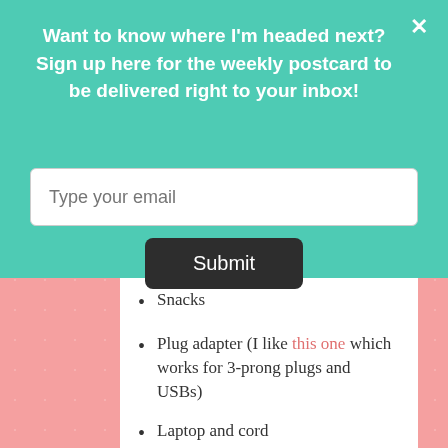Want to know where I'm headed next? Sign up here for the weekly postcard to be delivered right to your inbox!
Type your email
Submit
Snacks
Plug adapter (I like this one which works for 3-prong plugs and USBs)
Laptop and cord
Phone cord
Kindle and cord